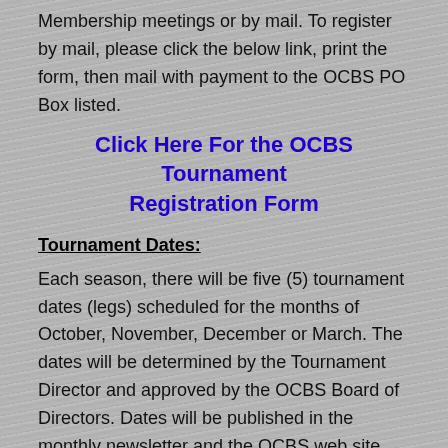Membership meetings or by mail. To register by mail, please click the below link, print the form, then mail with payment to the OCBS PO Box listed.
Click Here For the OCBS Tournament Registration Form
Tournament Dates:
Each season, there will be five (5) tournament dates (legs) scheduled for the months of October, November, December or March. The dates will be determined by the Tournament Director and approved by the OCBS Board of Directors. Dates will be published in the monthly newsletter and the OCBS web site.
Time:
You may start fishing at 6:00 AM the day of the Tournament